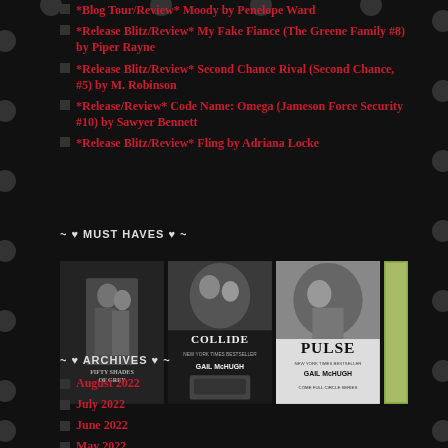*Release Blitz/Review* My Fake Fiance (The Greene Family #8) by Piper Rayne
*Release Blitz/Review* Second Chance Rival (Second Chance, #5) by M. Robinson
*Release/Review* Code Name: Omega (Jameson Force Security #10) by Sawyer Bennett
*Release Blitz/Review* Fling by Adriana Locke
~ ♥ MUST HAVES ♥ ~
[Figure (photo): Three book covers: Fifty Shades of Grey, Collide by Gail McHugh, and Pulse by Gail McHugh]
~ ♥ ARCHIVES ♥ ~
August 2022
July 2022
June 2022
May 2022